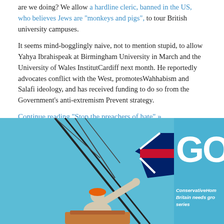are we doing? We allow a hardline cleric, banned in the US, who believes Jews are "monkeys and pigs", to tour British university campuses.
It seems mind-bogglingly naive, not to mention stupid, to allow Yahya Ibrahim speak at Birmingham University in March and the University of Wales Institute Cardiff next month. He reportedly advocates conflict with the West, promotes Wahhabism and Salafi ideology, and has received funding to do so from the Government's anti-extremism Prevent strategy.
Continue reading "Stop the preachers of hate" »
Posted by Benedict Rogers at 18:49 | Permalink | Comments (52)
Three cheers for technical Academies
[Figure (illustration): Illustration of a construction worker in a hard hat pointing upward, with a crane hook holding a Union Jack flag shape, set against a blue background. Partially visible text 'GO' in white on the right side with caption text 'ConservativeHome Britain needs gro series'.]